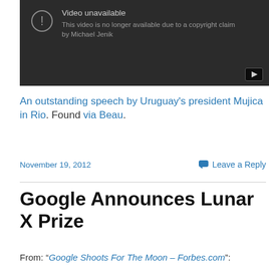[Figure (screenshot): YouTube video unavailable screen showing dark background with exclamation icon, text 'Video unavailable' and 'This video is no longer available due to a copyright claim by Michael Jenik', with a small YouTube play button in the bottom right corner.]
An outstanding speech by Uruguay's president Mujica in Rio. Found via Beau.
November 19, 2012   Leave a Reply
Google Announces Lunar X Prize
From: “Google Shoots For The Moon – Forbes.com”: